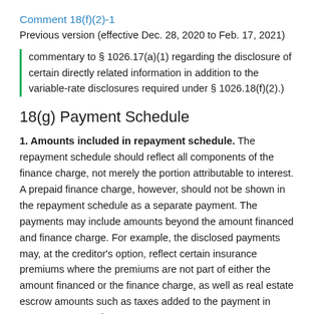Comment 18(f)(2)-1
Previous version (effective Dec. 28, 2020 to Feb. 17, 2021)
commentary to § 1026.17(a)(1) regarding the disclosure of certain directly related information in addition to the variable-rate disclosures required under § 1026.18(f)(2).)
18(g) Payment Schedule
1. Amounts included in repayment schedule. The repayment schedule should reflect all components of the finance charge, not merely the portion attributable to interest. A prepaid finance charge, however, should not be shown in the repayment schedule as a separate payment. The payments may include amounts beyond the amount financed and finance charge. For example, the disclosed payments may, at the creditor's option, reflect certain insurance premiums where the premiums are not part of either the amount financed or the finance charge, as well as real estate escrow amounts such as taxes added to the payment in mortgage transactions.